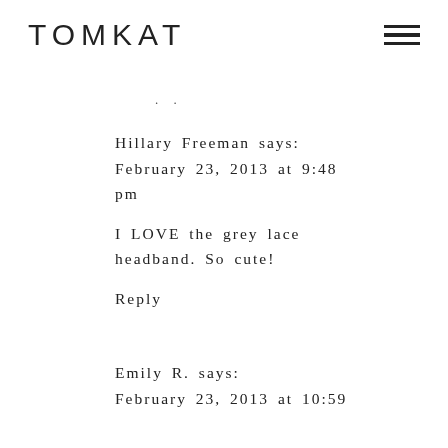TOMKAT
. .
Hillary Freeman says:
February 23, 2013 at 9:48 pm
I LOVE the grey lace headband. So cute!
Reply
Emily R. says:
February 23, 2013 at 10:59